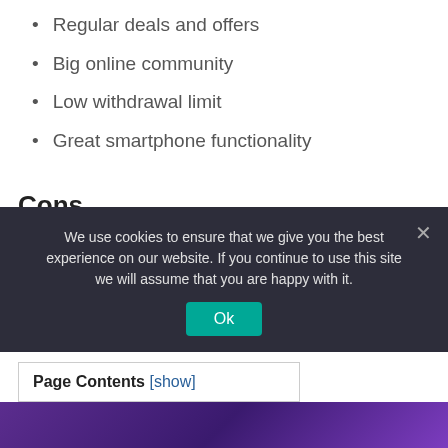Regular deals and offers
Big online community
Low withdrawal limit
Great smartphone functionality
Cons
Potentially long withdrawal time
Lack of PayPal support
High wagering requirements on non-
We use cookies to ensure that we give you the best experience on our website. If you continue to use this site we will assume that you are happy with it.
Ok
Page Contents [show]
[Figure (photo): Purple/violet background image strip at the bottom of the page]